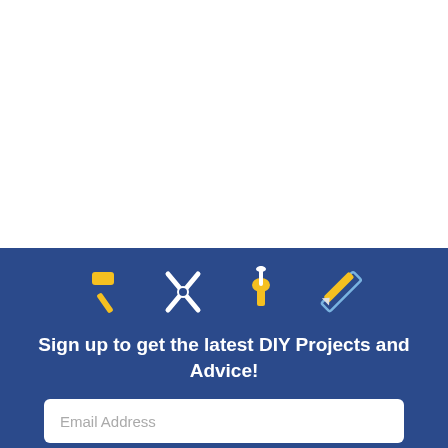[Figure (illustration): White top section of a webpage, partially visible]
[Figure (illustration): Four DIY tool icons: hammer, pliers/scissors, shovel with screw, ruler and pencil crossed]
Sign up to get the latest DIY Projects and Advice!
Email Address